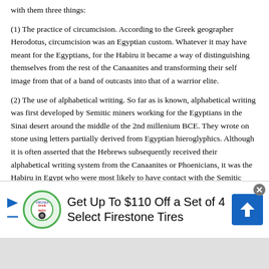with them three things:
(1) The practice of circumcision. According to the Greek geographer Herodotus, circumcision was an Egyptian custom. Whatever it may have meant for the Egyptians, for the Habiru it became a way of distinguishing themselves from the rest of the Canaanites and transforming their self image from that of a band of outcasts into that of a warrior elite.
(2) The use of alphabetical writing. So far as is known, alphabetical writing was first developed by Semitic miners working for the Egyptians in the Sinai desert around the middle of the 2nd millenium BCE. They wrote on stone using letters partially derived from Egyptian hieroglyphics. Although it is often asserted that the Hebrews subsequently received their alphabetical writing system from the Canaanites or Phoenicians, it was the Habiru in Egypt who were most likely to have contact with the Semitic miners working for the Egyptians in the Sinai. In view of the importance attached by the Torah to the story of the writing of the
[Figure (infographic): Advertisement banner: Get Up To $110 Off a Set of 4 Select Firestone Tires, with Virginia Tire & Auto logo and blue navigation icon]